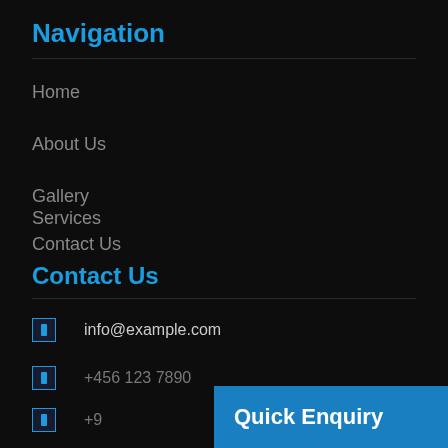Navigation
Home
About Us
Gallery
Services
Contact Us
Contact Us
info@example.com
+456 123 7890
+9... xx...
Quick Enquiry